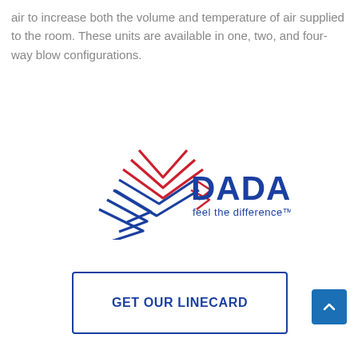air to increase both the volume and temperature of air supplied to the room. These units are available in one, two, and four-way blow configurations.
[Figure (logo): DADANCO logo with mountain/chevron lines in red and blue, text 'DADANCO' in large dark blue bold font, tagline 'feel the difference™' below in dark blue]
GET OUR LINECARD